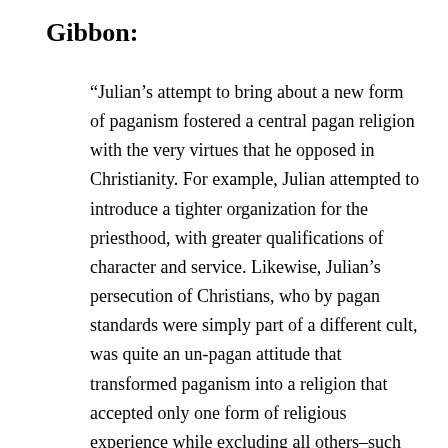Gibbon:
“Julian’s attempt to bring about a new form of paganism fostered a central pagan religion with the very virtues that he opposed in Christianity. For example, Julian attempted to introduce a tighter organization for the priesthood, with greater qualifications of character and service. Likewise, Julian’s persecution of Christians, who by pagan standards were simply part of a different cult, was quite an un-pagan attitude that transformed paganism into a religion that accepted only one form of religious experience while excluding all others–such as Christianity. In trying to compete with Christianity, Julian fundamentally changed the nature of pagan worship. That is, paganism became a religion